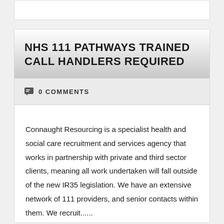NHS 111 PATHWAYS TRAINED CALL HANDLERS REQUIRED
0 COMMENTS
Connaught Resourcing is a specialist health and social care recruitment and services agency that works in partnership with private and third sector clients, meaning all work undertaken will fall outside of the new IR35 legislation. We have an extensive network of 111 providers, and senior contacts within them. We recruit......